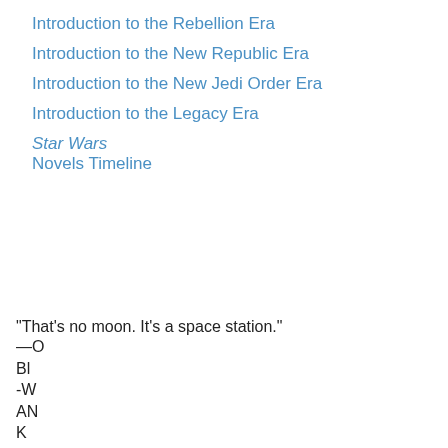Introduction to the Rebellion Era
Introduction to the New Republic Era
Introduction to the New Jedi Order Era
Introduction to the Legacy Era
Star Wars
Novels Timeline
“That’s no moon. It’s a space station.”
—O
Bl
-W
AN
K